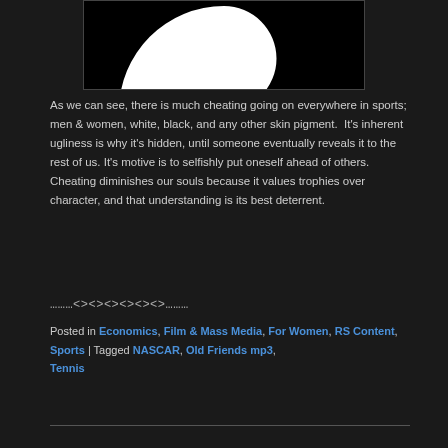[Figure (illustration): Partial yin-yang symbol, black and white, cropped view showing upper portion]
As we can see, there is much cheating going on everywhere in sports; men & women, white, black, and any other skin pigment.  It's inherent ugliness is why it's hidden, until someone eventually reveals it to the rest of us. It's motive is to selfishly put oneself ahead of others. Cheating diminishes our souls because it values trophies over character, and that understanding is its best deterrent.
………<><><><><><>………
Posted in Economics, Film & Mass Media, For Women, RS Content, Sports | Tagged NASCAR, Old Friends mp3, Tennis